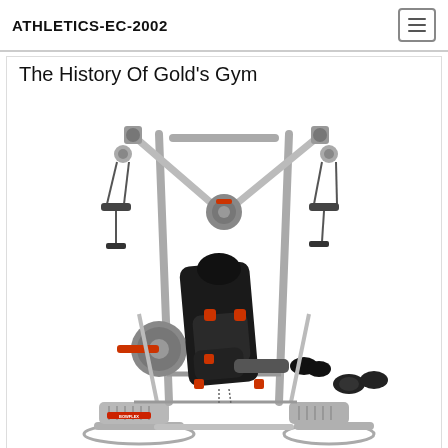ATHLETICS-EC-2002
The History Of Gold's Gym
[Figure (photo): A Bowflex home gym machine with cable pulleys, adjustable bench, leg extension attachment, and foot platform, photographed on a white background.]